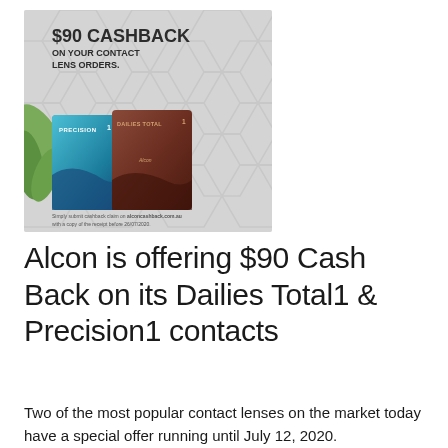[Figure (photo): Advertisement image for Alcon $90 Cashback on contact lens orders. Shows two contact lens boxes (Precision1 in blue/teal and Dailies Total1 in dark red/brown) against a hexagonal pattern background with green plant leaves on the left. Text reads '$90 CASHBACK ON YOUR CONTACT LENS ORDERS.' with fine print about submitting cashback claim on alconcashback.com.au before 26/07/2020.]
Alcon is offering $90 Cash Back on its Dailies Total1 & Precision1 contacts
Two of the most popular contact lenses on the market today have a special offer running until July 12, 2020.